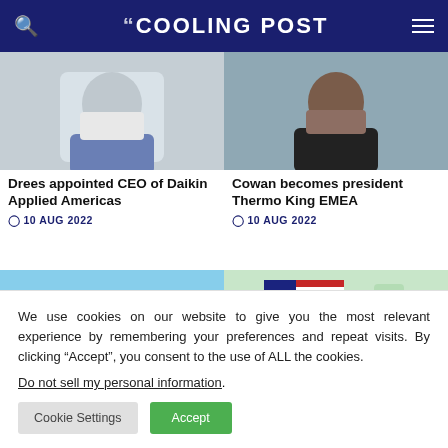COOLING POST
[Figure (photo): Portrait photo of a man in a suit (Drees)]
[Figure (photo): Portrait photo of a woman in a black jacket (Cowan)]
Drees appointed CEO of Daikin Applied Americas
10 AUG 2022
Cowan becomes president Thermo King EMEA
10 AUG 2022
[Figure (photo): Photo of a red train on a track]
[Figure (photo): Photo of an American flag on a map background]
We use cookies on our website to give you the most relevant experience by remembering your preferences and repeat visits. By clicking “Accept”, you consent to the use of ALL the cookies.
Do not sell my personal information.